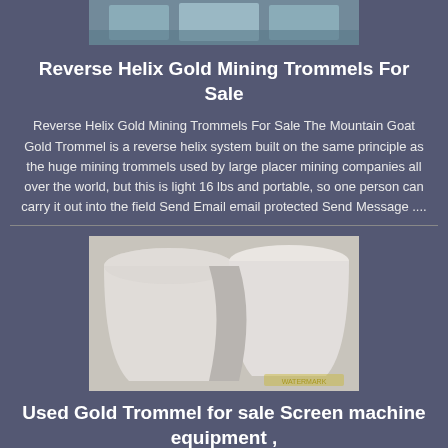[Figure (photo): Partial top image of a gold mining trommel or similar equipment with colorful elements, cropped at top]
Reverse Helix Gold Mining Trommels For Sale
Reverse Helix Gold Mining Trommels For Sale The Mountain Goat Gold Trommel is a reverse helix system built on the same principle as the huge mining trommels used by large placer mining companies all over the world, but this is light 16 lbs and portable, so one person can carry it out into the field Send Email email protected Send Message ....
[Figure (photo): Photo of white/cream colored industrial buckets or trommel components viewed from above, with a small watermark in the corner]
Used Gold Trommel for sale Screen machine equipment ,
Gold Wash Trommel Plant Trommel Screen Portable Mobile Gold Trommel for Gold Mining Manufacturer Relong Reverse Helix Gold Trommel Wash Plant The Model 10 is advanced portable unit It